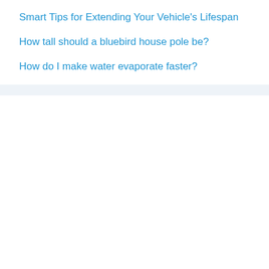Smart Tips for Extending Your Vehicle’s Lifespan
How tall should a bluebird house pole be?
How do I make water evaporate faster?